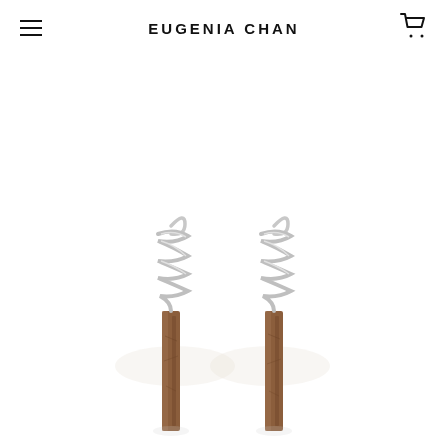EUGENIA CHAN
[Figure (photo): Product photo of two earrings featuring silver coiled/spring wire tops with wooden stick/twig pendants hanging down, photographed on a white background.]